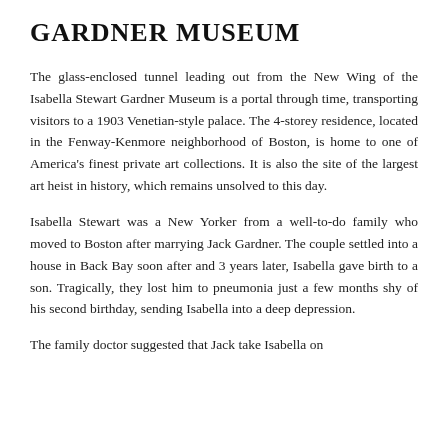GARDNER MUSEUM
The glass-enclosed tunnel leading out from the New Wing of the Isabella Stewart Gardner Museum is a portal through time, transporting visitors to a 1903 Venetian-style palace. The 4-storey residence, located in the Fenway-Kenmore neighborhood of Boston, is home to one of America's finest private art collections. It is also the site of the largest art heist in history, which remains unsolved to this day.
Isabella Stewart was a New Yorker from a well-to-do family who moved to Boston after marrying Jack Gardner. The couple settled into a house in Back Bay soon after and 3 years later, Isabella gave birth to a son. Tragically, they lost him to pneumonia just a few months shy of his second birthday, sending Isabella into a deep depression.
The family doctor suggested that Jack take Isabella on